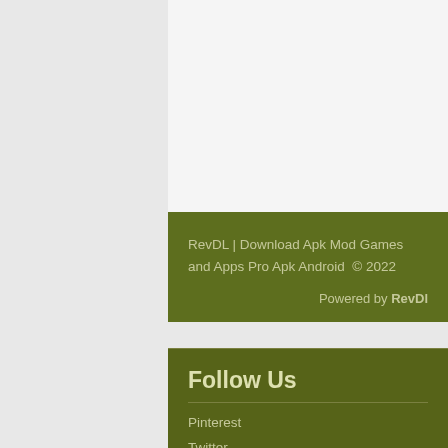RevDL | Download Apk Mod Games and Apps Pro Apk Android  © 2022
Powered by RevDl
Follow Us
Pinterest
Twitter
Youtube
Facebook